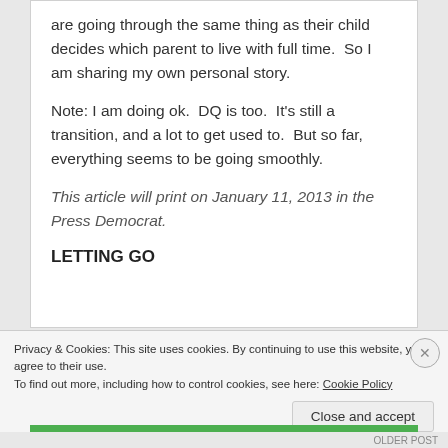are going through the same thing as their child decides which parent to live with full time.  So I am sharing my own personal story.
Note: I am doing ok.  DQ is too.  It's still a transition, and a lot to get used to.  But so far, everything seems to be going smoothly.
This article will print on January 11, 2013 in the Press Democrat.
LETTING GO
Privacy & Cookies: This site uses cookies. By continuing to use this website, you agree to their use.
To find out more, including how to control cookies, see here: Cookie Policy
Close and accept